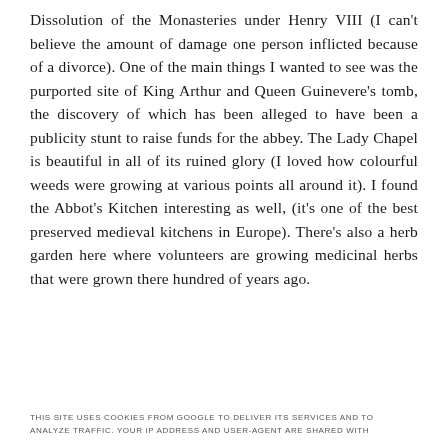Dissolution of the Monasteries under Henry VIII (I can't believe the amount of damage one person inflicted because of a divorce). One of the main things I wanted to see was the purported site of King Arthur and Queen Guinevere's tomb, the discovery of which has been alleged to have been a publicity stunt to raise funds for the abbey. The Lady Chapel is beautiful in all of its ruined glory (I loved how colourful weeds were growing at various points all around it). I found the Abbot's Kitchen interesting as well, (it's one of the best preserved medieval kitchens in Europe). There's also a herb garden here where volunteers are growing medicinal herbs that were grown there hundred of years ago.
THIS SITE USES COOKIES FROM GOOGLE TO DELIVER ITS SERVICES AND TO ANALYZE TRAFFIC. YOUR IP ADDRESS AND USER-AGENT ARE SHARED WITH